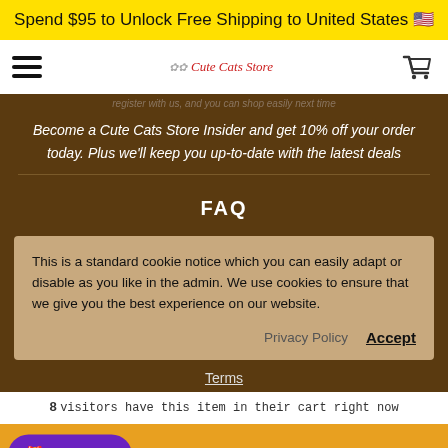Spend $95 to Unlock Free Shipping to United States 🇺🇸
[Figure (logo): Cute Cats Store logo with hamburger menu and cart icon in navigation bar]
Become a Cute Cats Store Insider and get 10% off your order today. Plus we'll keep you up-to-date with the latest deals
FAQ
This is a standard cookie notice which you can easily adapt or disable as you like in the admin. We use cookies to ensure that we give you the best experience on our website.
Privacy Policy   Accept
Terms
8 visitors have this item in their cart right now
Rewards   + Buy Now